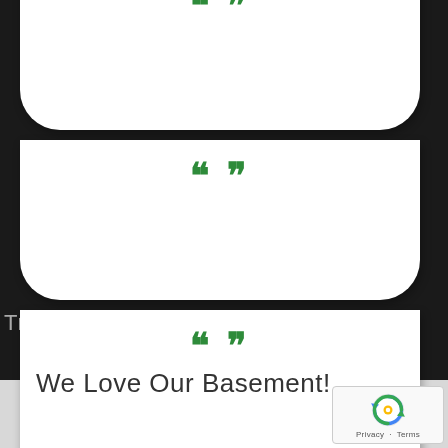[Figure (other): Stacked white cards with green quotation marks on dark background, partial text and testimonial visible]
““
““
Tru... ...sted Reliable
““
We Love Our Basement!
[Figure (logo): Google reCAPTCHA badge with Privacy and Terms links]